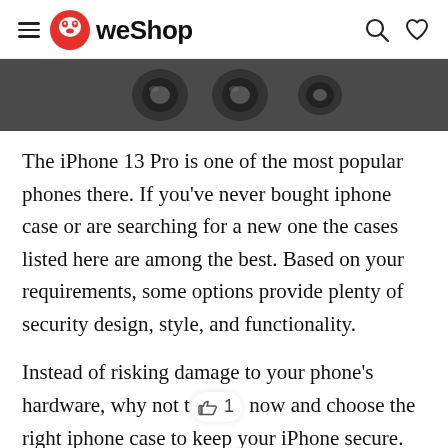WeShop
[Figure (photo): Close-up dark grayscale photo of iPhone cameras/lenses from above]
The iPhone 13 Pro is one of the most popular phones there. If you’ve never bought iphone case or are searching for a new one the cases listed here are among the best. Based on your requirements, some options provide plenty of security design, style, and functionality.
Instead of risking damage to your phone’s hardware, why not take action now and choose the right iphone case to keep your iPhone secure.